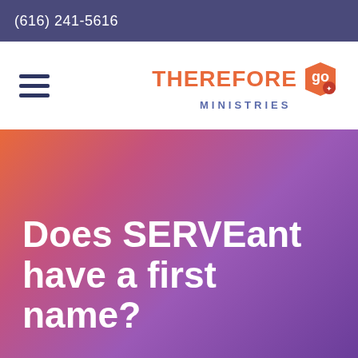(616) 241-5616
[Figure (logo): Therefore Go Ministries logo with hamburger menu icon on the left and the Therefore Go Ministries branded logo on the right]
Does SERVEant have a first name?